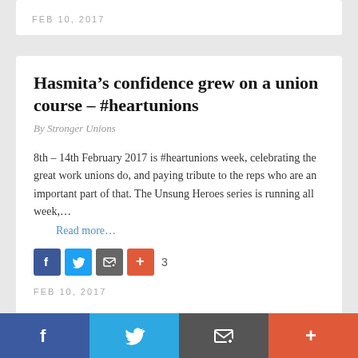FEB 10, 2017
Hasmita’s confidence grew on a union course – #heartunions
By Stronger Unions
8th – 14th February 2017 is #heartunions week, celebrating the great work unions do, and paying tribute to the reps who are an important part of that. The Unsung Heroes series is running all week,…
Read more…
[Figure (other): Social share icons: Facebook (blue), Twitter (blue), Email (grey), Plus (red-orange), share count 3]
FEB 10, 2017
Joe on the importance of unions as
[Figure (other): Bottom social sharing bar with Facebook, Twitter, Email, and Plus buttons]